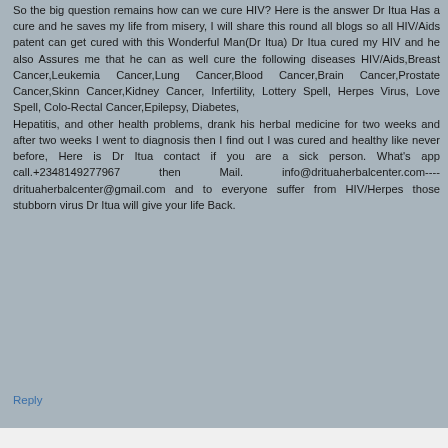So the big question remains how can we cure HIV? Here is the answer Dr Itua Has a cure and he saves my life from misery, I will share this round all blogs so all HIV/Aids patent can get cured with this Wonderful Man(Dr Itua) Dr Itua cured my HIV and he also Assures me that he can as well cure the following diseases HIV/Aids,Breast Cancer,Leukemia Cancer,Lung Cancer,Blood Cancer,Brain Cancer,Prostate Cancer,Skinn Cancer,Kidney Cancer, Infertility, Lottery Spell, Herpes Virus, Love Spell, Colo-Rectal Cancer,Epilepsy, Diabetes, Hepatitis, and other health problems, drank his herbal medicine for two weeks and after two weeks I went to diagnosis then I find out I was cured and healthy like never before, Here is Dr Itua contact if you are a sick person. What's app call.+2348149277967 then Mail. info@drituaherbalcenter.com---- drituaherbalcenter@gmail.com and to everyone suffer from HIV/Herpes those stubborn virus Dr Itua will give your life Back.
Reply